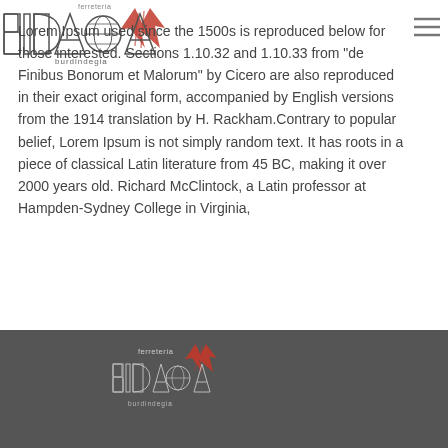[Figure (logo): Ferretería Bidasoa / Burdindegia logo with geometric letters and red star/arrow element, top left corner]
Lorem Ipsum used since the 1500s is reproduced below for those interested. Sections 1.10.32 and 1.10.33 from "de Finibus Bonorum et Malorum" by Cicero are also reproduced in their exact original form, accompanied by English versions from the 1914 translation by H. Rackham.Contrary to popular belief, Lorem Ipsum is not simply random text. It has roots in a piece of classical Latin literature from 45 BC, making it over 2000 years old. Richard McClintock, a Latin professor at Hampden-Sydney College in Virginia,
[Figure (logo): Ferretería Bidasoa logo in footer, white text with red star/arrow element on dark grey background]